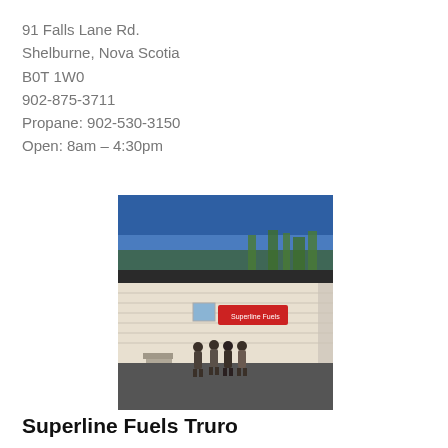91 Falls Lane Rd.
Shelburne, Nova Scotia
B0T 1W0
902-875-3711
Propane: 902-530-3150
Open: 8am – 4:30pm
[Figure (photo): Exterior photo of a Superline Fuels building with white siding and a blue sky background. Four people are standing in front of the building on a paved lot.]
Superline Fuels Truro